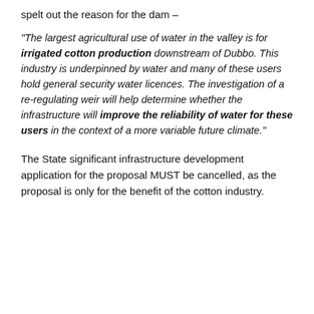spelt out the reason for the dam –
“The largest agricultural use of water in the valley is for irrigated cotton production downstream of Dubbo. This industry is underpinned by water and many of these users hold general security water licences. The investigation of a re-regulating weir will help determine whether the infrastructure will improve the reliability of water for these users in the context of a more variable future climate.”
The State significant infrastructure development application for the proposal MUST be cancelled, as the proposal is only for the benefit of the cotton industry.